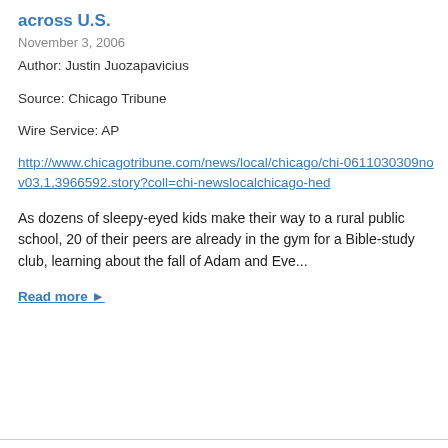across U.S.
November 3, 2006
Author: Justin Juozapavicius
Source: Chicago Tribune
Wire Service: AP
http://www.chicagotribune.com/news/local/chicago/chi-0611030309nov03,1,3966592.story?coll=chi-newslocalchicago-hed
As dozens of sleepy-eyed kids make their way to a rural public school, 20 of their peers are already in the gym for a Bible-study club, learning about the fall of Adam and Eve...
Read more ▶